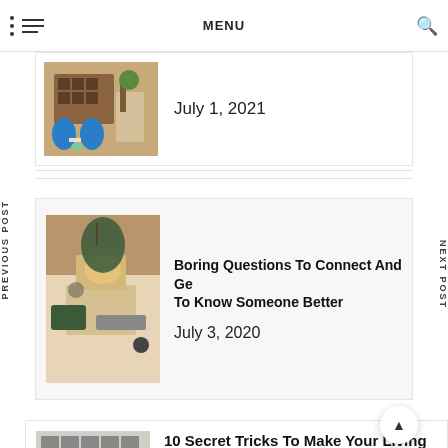MENU
July 1, 2021
Boring Questions To Connect And Get To Know Someone Better
July 3, 2020
10 Secret Tricks To Make Your Living Room Look Expensive
January 30, 2019